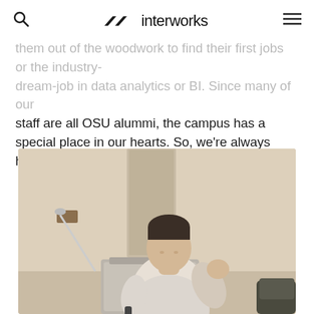interworks
staff are all OSU alummi, the campus has a special place in our hearts. So, we're always happy to go back for a visit!
[Figure (photo): A man in a light blue shirt standing at a podium, gesturing with one hand while holding a clicker, appearing to give a presentation in a lecture room. An OSU logo is visible on the podium.]